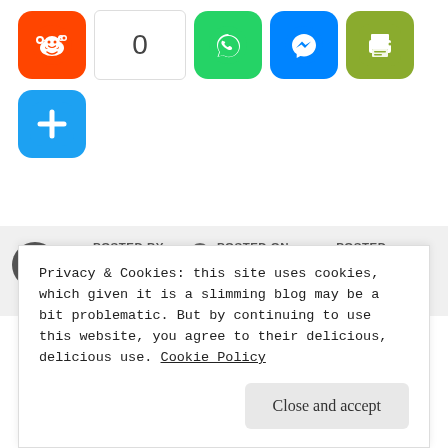[Figure (screenshot): Social share buttons row: Reddit icon (orange), count box showing 0, WhatsApp icon (green), Messenger icon (blue), Print icon (olive green)]
[Figure (screenshot): More/add button: blue square with white plus sign]
POSTED BY CHUBBYCUBS | POSTED ON APRIL 7, 2018 | POSTED UNDER FAKEAWAYS, ITALIAN, LOW
Privacy & Cookies: this site uses cookies, which given it is a slimming blog may be a bit problematic. But by continuing to use this website, you agree to their delicious, delicious use. Cookie Policy
Close and accept